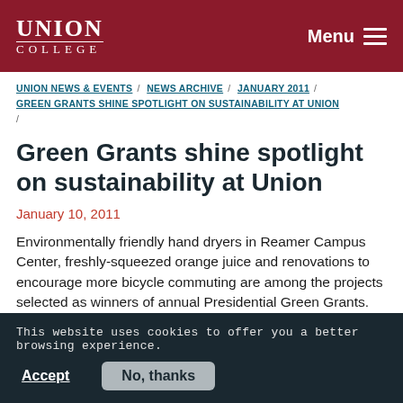UNION COLLEGE | Menu
UNION NEWS & EVENTS / NEWS ARCHIVE / JANUARY 2011 / GREEN GRANTS SHINE SPOTLIGHT ON SUSTAINABILITY AT UNION /
Green Grants shine spotlight on sustainability at Union
January 10, 2011
Environmentally friendly hand dryers in Reamer Campus Center, freshly-squeezed orange juice and renovations to encourage more bicycle commuting are among the projects selected as winners of annual Presidential Green Grants.
This website uses cookies to offer you a better browsing experience.